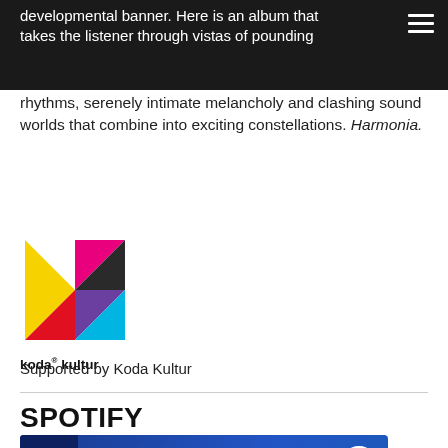developmental banner. Here is an album that takes the listener through vistas of pounding
rhythms, serenely intimate melancholy and clashing sound worlds that combine into exciting constellations. Harmonia.
[Figure (logo): Koda Kultur logo — colorful geometric K shape with text 'koda® kultur' below]
Supported by Koda Kultur
SPOTIFY
[Figure (screenshot): Spotify player banner showing 'Harmonia' track with Spotify logo icon on blue gradient background]